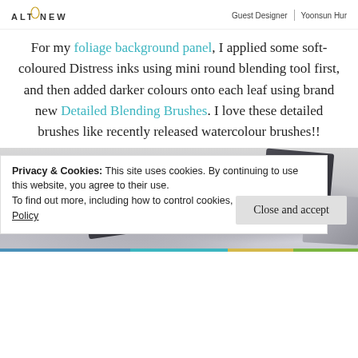ALTENEW | Guest Designer | Yoonsun Hur
For my foliage background panel, I applied some soft-coloured Distress inks using mini round blending tool first, and then added darker colours onto each leaf using brand new Detailed Blending Brushes. I love these detailed brushes like recently released watercolour brushes!!
[Figure (photo): Two dark grey cube-shaped ink or paint containers on a light surface, with a small round white tool visible, and a grey curved object partially visible at the right edge.]
Privacy & Cookies: This site uses cookies. By continuing to use this website, you agree to their use.
To find out more, including how to control cookies, see here: Cookie Policy
Close and accept